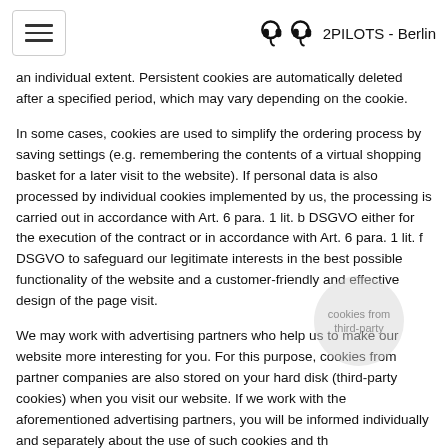2PILOTS - Berlin
an individual extent. Persistent cookies are automatically deleted after a specified period, which may vary depending on the cookie.
In some cases, cookies are used to simplify the ordering process by saving settings (e.g. remembering the contents of a virtual shopping basket for a later visit to the website). If personal data is also processed by individual cookies implemented by us, the processing is carried out in accordance with Art. 6 para. 1 lit. b DSGVO either for the execution of the contract or in accordance with Art. 6 para. 1 lit. f DSGVO to safeguard our legitimate interests in the best possible functionality of the website and a customer-friendly and effective design of the page visit.
We may work with advertising partners who help us to make our website more interesting for you. For this purpose, cookies from partner companies are also stored on your hard disk (third-party cookies) when you visit our website. If we work with the aforementioned advertising partners, you will be informed individually and separately about the use of such cookies and the